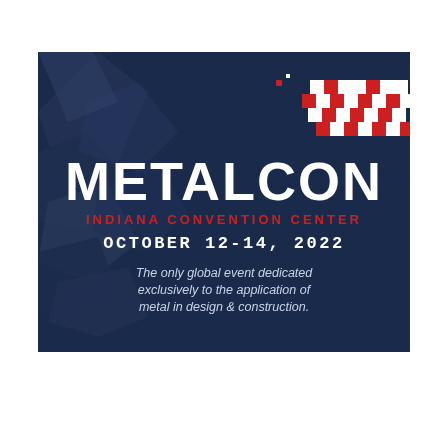[Figure (logo): METALCON event advertisement banner on dark navy blue background with geometric checkered flag pattern in top right corner (white and red squares), decorative geometric polygonal shapes on left side. Text includes: METALCON (large white bold), INDIANA CONVENTION CENTER (red uppercase), OCTOBER 12-14, 2022 (white uppercase), and italic tagline: The only global event dedicated exclusively to the application of metal in design & construction.]